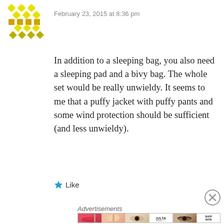[Figure (illustration): Yellow diamond/flower mosaic avatar icon in top-left corner]
February 23, 2015 at 8:36 pm
In addition to a sleeping bag, you also need a sleeping pad and a bivy bag. The whole set would be really unwieldy. It seems to me that a puffy jacket with puffy pants and some wind protection should be sufficient (and less unwieldy).
★ Like
[Figure (illustration): Close (X) button circle in bottom right area]
Advertisements
[Figure (photo): ULTA beauty advertisement banner showing makeup images: lips with brush, face with powder brush, eye with makeup, ULTA logo, smoky eye, and SHOP NOW button]